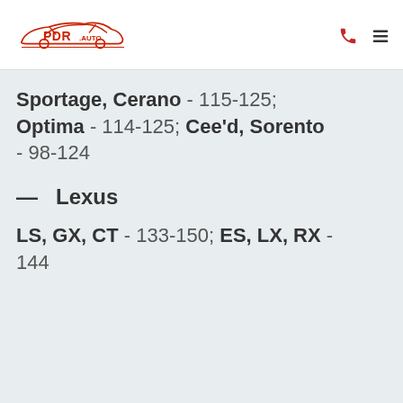[Figure (logo): PDR Auto logo — red car silhouette with PDR.AUTO text]
Sportage, Cerano - 115-125; Optima - 114-125; Cee'd, Sorento - 98-124
— Lexus
LS, GX, CT - 133-150; ES, LX, RX - 144